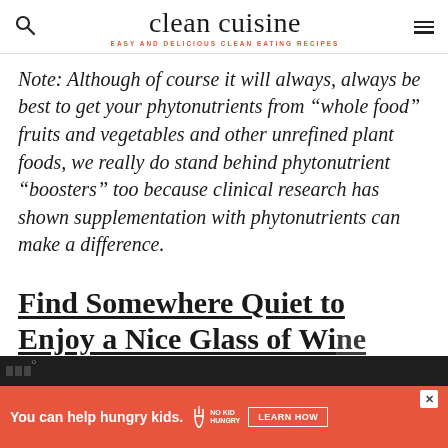clean cuisine | EASY AND DELICIOUS CLEAN EATING RECIPES
Note: Although of course it will always, always be best to get your phytonutrients from “whole food” fruits and vegetables and other unrefined plant foods, we really do stand behind phytonutrient “boosters” too because clinical research has shown supplementation with phytonutrients can make a difference.
Find Somewhere Quiet to Enjoy a Nice Glass of Wine
[Figure (other): Advertisement banner: orange background with text 'You can help hungry kids.' with No Kid Hungry logo and 'LEARN HOW' button]